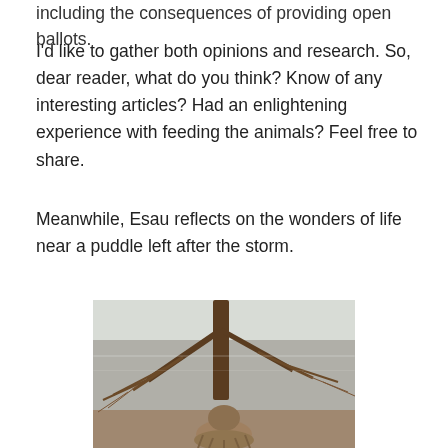including the consequences of providing open ballots.
I'd like to gather both opinions and research. So, dear reader, what do you think? Know of any interesting articles? Had an enlightening experience with feeding the animals? Feel free to share.
Meanwhile, Esau reflects on the wonders of life near a puddle left after the storm.
[Figure (photo): A small shaggy dog viewed from behind, sitting and looking at the reflection of bare winter trees in a muddy puddle on the ground after a storm.]